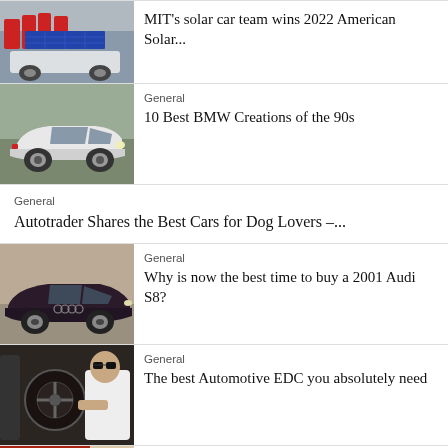[Figure (photo): MIT solar car team photo with solar car panel]
MIT's solar car team wins 2022 American Solar...
[Figure (photo): White BMW car from the 90s]
General
10 Best BMW Creations of the 90s
General
Autotrader Shares the Best Cars for Dog Lovers –...
[Figure (photo): Dark colored Audi S8 2001 car]
General
Why is now the best time to buy a 2001 Audi S8?
[Figure (photo): Person driving a car, seated at steering wheel]
General
The best Automotive EDC you absolutely need
[Figure (photo): Partial image of red car with person]
General
Car Thieves Now Use This